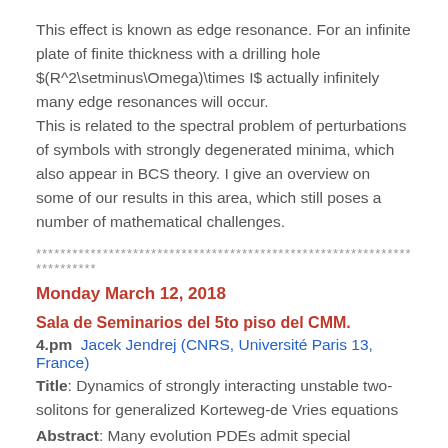This effect is known as edge resonance. For an infinite plate of finite thickness with a drilling hole $(R^2\setminus\Omega)\times I$ actually infinitely many edge resonances will occur.
This is related to the spectral problem of perturbations of symbols with strongly degenerated minima, which also appear in BCS theory. I give an overview on some of our results in this area, which still poses a number of mathematical challenges.
************************************************************************
Monday March 12, 2018
Sala de Seminarios del 5to piso del CMM.
4.pm  Jacek Jendrej (CNRS, Université Paris 13, France)
Title: Dynamics of strongly interacting unstable two-solitons for generalized Korteweg-de Vries equations
Abstract: Many evolution PDEs admit special solutions, called solitons, whose shape does not change in time. A multi-solito...